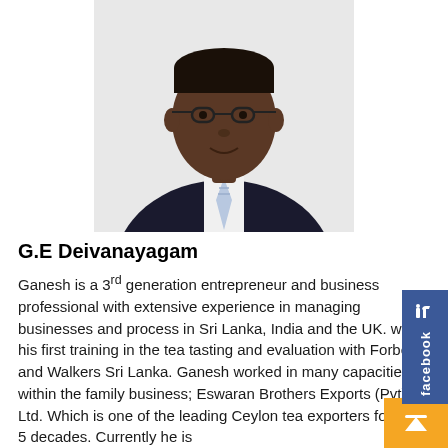[Figure (photo): Professional headshot of G.E Deivanayagam, a man wearing glasses and a dark suit with a striped tie, photographed against a white background.]
G.E Deivanayagam
Ganesh is a 3rd generation entrepreneur and business professional with extensive experience in managing businesses and process in Sri Lanka, India and the UK. with his first training in the tea tasting and evaluation with Forbes and Walkers Sri Lanka. Ganesh worked in many capacities within the family business; Eswaran Brothers Exports (Pvt) Ltd. Which is one of the leading Ceylon tea exporters for last 5 decades. Currently he is